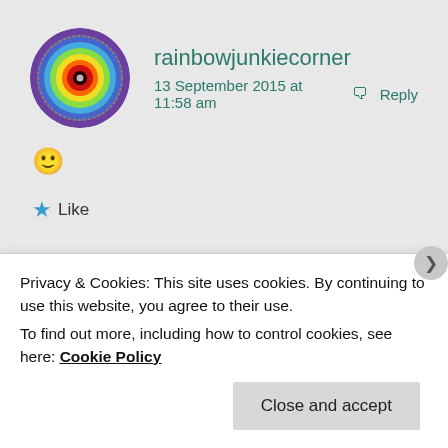[Figure (illustration): Circular avatar with rainbow tie-dye pattern in blue, yellow, red, and purple concentric rings]
rainbowjunkiecorner
13 September 2015 at 11:58 am  🗨 Reply
🙂
★ Like
Privacy & Cookies: This site uses cookies. By continuing to use this website, you agree to their use.
To find out more, including how to control cookies, see here: Cookie Policy
Close and accept